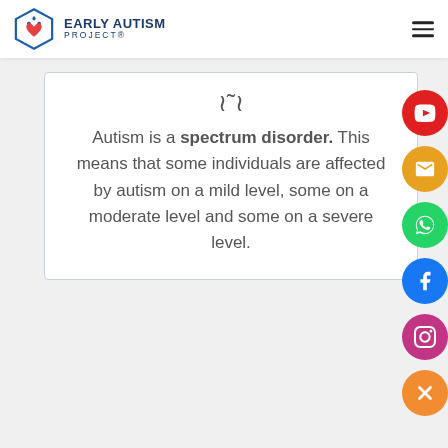[Figure (logo): Early Autism Project logo — hexagon with heart puzzle piece icon and text 'EARLY AUTISM PROJECT']
Autism is a spectrum disorder. This means that some individuals are affected by autism on a mild level, some on a moderate level and some on a severe level.
[Figure (infographic): Social media floating buttons: YouTube, Email, WhatsApp, Facebook, Instagram, and close (X)]